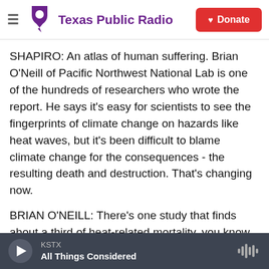Texas Public Radio | Donate
SHAPIRO: An atlas of human suffering. Brian O'Neill of Pacific Northwest National Lab is one of the hundreds of researchers who wrote the report. He says it's easy for scientists to see the fingerprints of climate change on hazards like heat waves, but it's been difficult to blame climate change for the consequences - the resulting death and destruction. That's changing now.
BRIAN O'NEILL: There's one study that finds about a third of heat-related mortality, you know, during summer months over the last few decades globally are attributable to climate change. So we're seeing
KSTX | All Things Considered